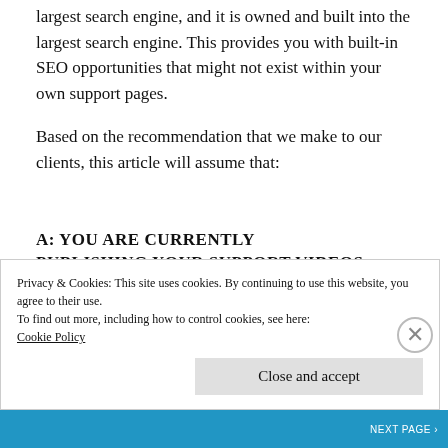largest search engine, and it is owned and built into the largest search engine. This provides you with built-in SEO opportunities that might not exist within your own support pages.
Based on the recommendation that we make to our clients, this article will assume that:
A: YOU ARE CURRENTLY PUBLISHING YOUR SUPPORT VIDEOS
Privacy & Cookies: This site uses cookies. By continuing to use this website, you agree to their use.
To find out more, including how to control cookies, see here:
Cookie Policy